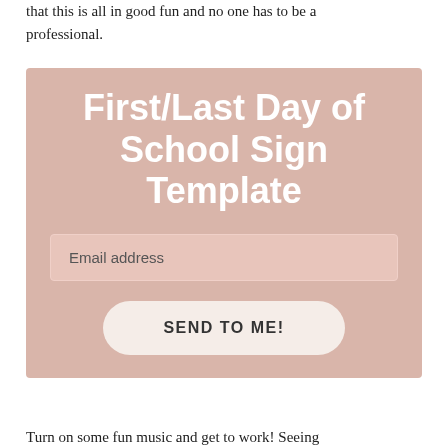that this is all in good fun and no one has to be a professional.
[Figure (infographic): A promotional signup box with dusty pink/rose background containing a bold white title 'First/Last Day of School Sign Template', an email address input field, and a 'SEND TO ME!' button with rounded pill shape on a cream background.]
Turn on some fun music and get to work! Seeing